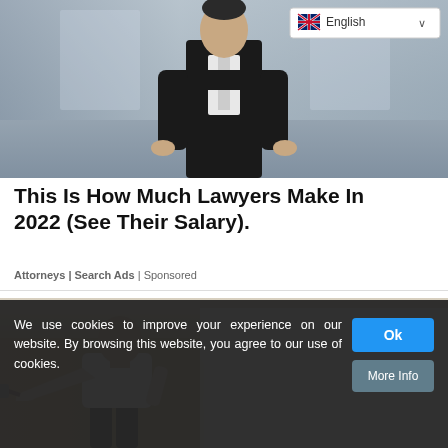[Figure (photo): Photo of a person in business attire (lawyer) against a blurred office background, with an English language selector dropdown in the upper right corner]
This Is How Much Lawyers Make In 2022 (See Their Salary).
Attorneys | Search Ads | Sponsored
[Figure (photo): Photo of a bald man painting a wall white with a roller brush, seen from behind]
We use cookies to improve your experience on our website. By browsing this website, you agree to our use of cookies.